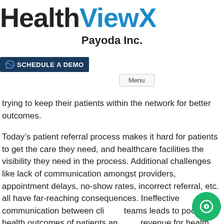[Figure (logo): HealthViewX logo with 'Health' in black bold and 'ViewX' in blue bold, large sans-serif font]
Payoda Inc.
[Figure (other): Schedule a Demo button with dark navy background and white text, with a wave/rainbow icon on the left]
[Figure (other): Menu button with light gray border]
trying to keep their patients within the network for better outcomes.
Today’s patient referral process makes it hard for patients to get the care they need, and healthcare facilities the visibility they need in the process. Additional challenges like lack of communication amongst providers, appointment delays, no-show rates, incorrect referral, etc. all have far-reaching consequences. Ineffective communication between clinical teams leads to poor health outcomes of patients and revenue for health systems. It is not a surprising fact, that more